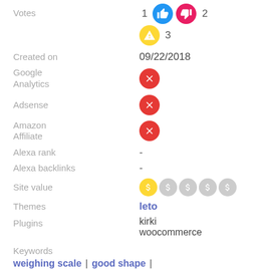| Field | Value |
| --- | --- |
| Votes | 1 thumbs-up, 2 thumbs-down, 3 warning |
| Created on | 09/22/2018 |
| Google Analytics | ✗ |
| Adsense | ✗ |
| Amazon Affiliate | ✗ |
| Alexa rank | - |
| Alexa backlinks | - |
| Site value | 1 of 5 dollar signs active |
| Themes | leto |
| Plugins | kirki woocommerce |
Keywords
weighing scale | good shape |